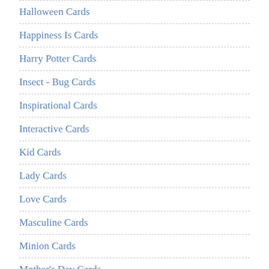Halloween Cards
Happiness Is Cards
Harry Potter Cards
Insect - Bug Cards
Inspirational Cards
Interactive Cards
Kid Cards
Lady Cards
Love Cards
Masculine Cards
Minion Cards
Mother's Day Cards
New Year Cards
Outer Space Cards
Pirate Cards